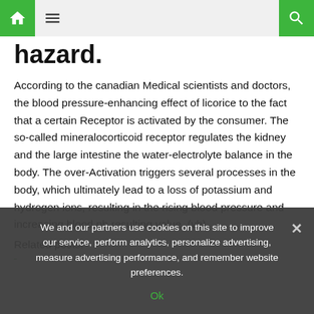Navigation bar with home, menu, and search icons
hazard.
According to the canadian Medical scientists and doctors, the blood pressure-enhancing effect of licorice to the fact that a certain Receptor is activated by the consumer. The so-called mineralocorticoid receptor regulates the kidney and the large intestine the water-electrolyte balance in the body. The over-Activation triggers several processes in the body, which ultimately lead to a loss of potassium and hydrogen ions, resulting in the rising blood pressure and increasing blood ph resulting value. (vb)
Related posts:
[related post link — partially visible]
We and our partners use cookies on this site to improve our service, perform analytics, personalize advertising, measure advertising performance, and remember website preferences. Ok